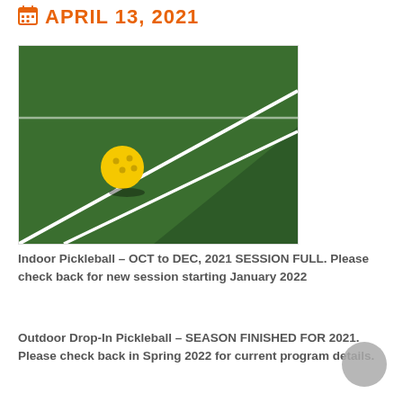APRIL 13, 2021
[Figure (photo): Yellow pickleball sitting on a dark green outdoor/indoor pickleball court with white court lines visible.]
Indoor Pickleball – OCT to DEC, 2021 SESSION FULL. Please check back for new session starting January 2022
Outdoor Drop-In Pickleball – SEASON FINISHED FOR 2021. Please check back in Spring 2022 for current program details.